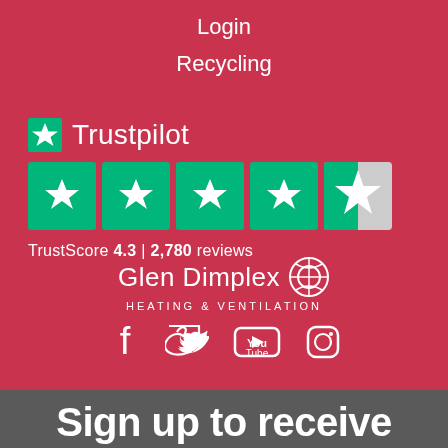Login
Recycling
[Figure (logo): Trustpilot logo with green star and TrustScore 4.3 | 2,780 reviews. Five star rating display showing 4.3 out of 5 stars with green star boxes.]
[Figure (logo): Glen Dimplex Heating & Ventilation logo with decorative circular icon. Social media icons: Facebook, Twitter, YouTube, Instagram.]
Sign up to receive offers